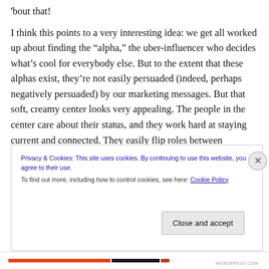'bout that!
I think this points to a very interesting idea: we get all worked up about finding the “alpha,” the uber-influencer who decides what’s cool for everybody else. But to the extent that these alphas exist, they’re not easily persuaded (indeed, perhaps negatively persuaded) by our marketing messages. But that soft, creamy center looks very appealing. The people in the center care about their status, and they work hard at staying current and connected. They easily flip roles between influencer and
Privacy & Cookies: This site uses cookies. By continuing to use this website, you agree to their use.
To find out more, including how to control cookies, see here: Cookie Policy
Close and accept